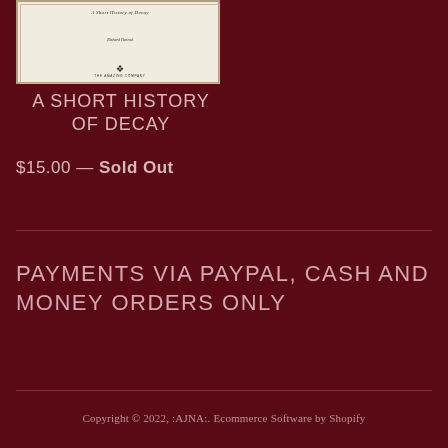[Figure (illustration): Book cover image for 'A Short History of Decay' showing a cream/off-white cover with title text, author name 'Richard Harrod', a small publisher logo, and 'THE AMAZING COMPANY' at the bottom. Displayed partially cropped at top of page.]
A SHORT HISTORY OF DECAY
$15.00 — Sold Out
PAYMENTS VIA PAYPAL, CASH AND MONEY ORDERS ONLY
Copyright © 2022, :AJNA:. Ecommerce Software by Shopify